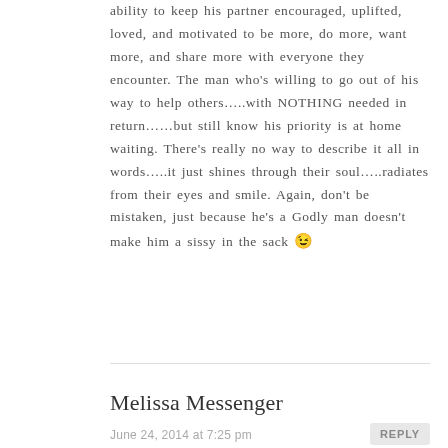ability to keep his partner encouraged, uplifted, loved, and motivated to be more, do more, want more, and share more with everyone they encounter. The man who's willing to go out of his way to help others…..with NOTHING needed in return……but still know his priority is at home waiting. There's really no way to describe it all in words…..it just shines through their soul…..radiates from their eyes and smile. Again, don't be mistaken, just because he's a Godly man doesn't make him a sissy in the sack 😉
Melissa Messenger
June 24, 2014 at 7:25 pm
REPLY